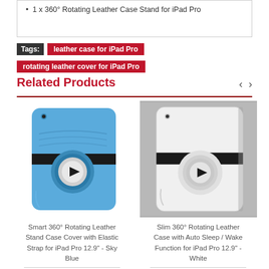1 x 360° Rotating Leather Case Stand for iPad Pro
Tags:  leather case for iPad Pro  rotating leather cover for iPad Pro
Related Products
[Figure (photo): Blue 360° rotating leather iPad case, back view with circular stand mechanism]
Smart 360° Rotating Leather Stand Case Cover with Elastic Strap for iPad Pro 12.9" - Sky Blue
$13.99
[Figure (photo): White 360° rotating leather iPad case, back view with circular stand mechanism]
Slim 360° Rotating Leather Case with Auto Sleep / Wake Function for iPad Pro 12.9" - White
$13.99